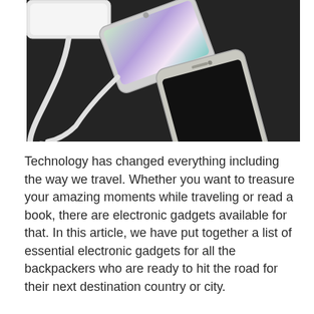[Figure (photo): Two smartphones (a curved Samsung Galaxy S6 Edge and an iPhone) connected to a power bank via white USB cables, lying on a dark textured surface]
Technology has changed everything including the way we travel. Whether you want to treasure your amazing moments while traveling or read a book, there are electronic gadgets available for that. In this article, we have put together a list of essential electronic gadgets for all the backpackers who are ready to hit the road for their next destination country or city.